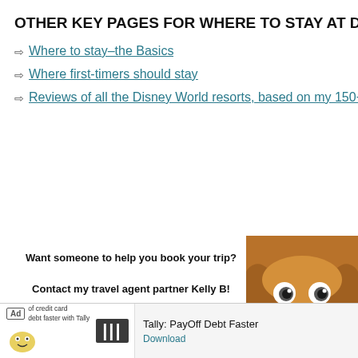OTHER KEY PAGES FOR WHERE TO STAY AT DI
Where to stay–the Basics
Where first-timers should stay
Reviews of all the Disney World resorts, based on my 150+ stay
Want someone to help you book your trip?

Contact my travel agent partner Kelly B!

Call Kelly at 980-429-4499 or email her at kellyb@destinationsinflorida.com!
[Figure (photo): Photo of a brown stuffed dog (Dug from Pixar's Up) plush toy close-up]
[Figure (screenshot): Advertisement banner for Tally: PayOff Debt Faster app with Ad badge, Tally logo, and Download button]